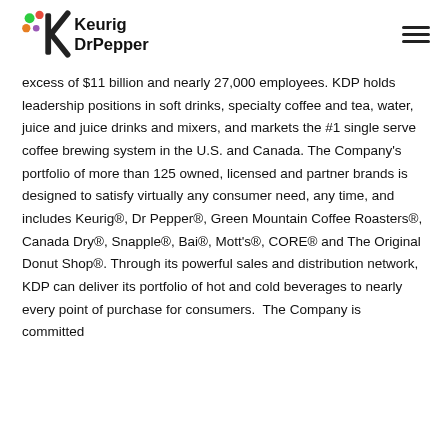Keurig Dr Pepper
excess of $11 billion and nearly 27,000 employees. KDP holds leadership positions in soft drinks, specialty coffee and tea, water, juice and juice drinks and mixers, and markets the #1 single serve coffee brewing system in the U.S. and Canada. The Company's portfolio of more than 125 owned, licensed and partner brands is designed to satisfy virtually any consumer need, any time, and includes Keurig®, Dr Pepper®, Green Mountain Coffee Roasters®, Canada Dry®, Snapple®, Bai®, Mott's®, CORE® and The Original Donut Shop®. Through its powerful sales and distribution network, KDP can deliver its portfolio of hot and cold beverages to nearly every point of purchase for consumers. The Company is committed